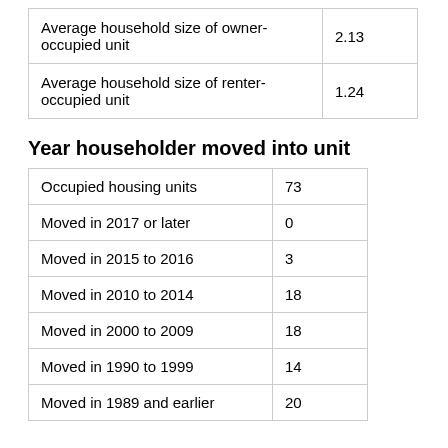| Average household size of owner-occupied unit | 2.13 |
| Average household size of renter-occupied unit | 1.24 |
Year householder moved into unit
| Occupied housing units | 73 |
| Moved in 2017 or later | 0 |
| Moved in 2015 to 2016 | 3 |
| Moved in 2010 to 2014 | 18 |
| Moved in 2000 to 2009 | 18 |
| Moved in 1990 to 1999 | 14 |
| Moved in 1989 and earlier | 20 |